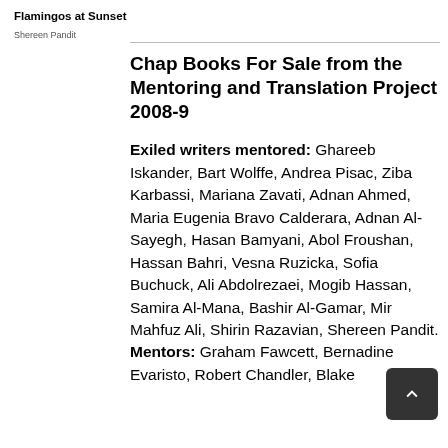Flamingos at Sunset
Shereen Pandit
Chap Books For Sale from the Mentoring and Translation Project 2008-9
Exiled writers mentored: Ghareeb Iskander, Bart Wolffe, Andrea Pisac, Ziba Karbassi, Mariana Zavati, Adnan Ahmed, Maria Eugenia Bravo Calderara, Adnan Al-Sayegh, Hasan Bamyani, Abol Froushan, Hassan Bahri, Vesna Ruzicka, Sofia Buchuck, Ali Abdolrezaei, Mogib Hassan, Samira Al-Mana, Bashir Al-Gamar, Mir Mahfuz Ali, Shirin Razavian, Shereen Pandit. Mentors: Graham Fawcett, Bernadine Evaristo, Robert Chandler, Blake